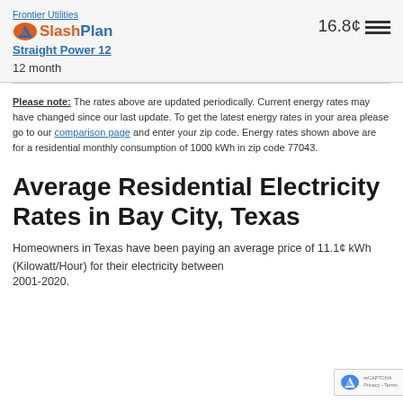Frontier Utilities SlashPlan Straight Power 12 — 16.8¢ kWh — 12 month
Please note: The rates above are updated periodically. Current energy rates may have changed since our last update. To get the latest energy rates in your area please go to our comparison page and enter your zip code. Energy rates shown above are for a residential monthly consumption of 1000 kWh in zip code 77043.
Average Residential Electricity Rates in Bay City, Texas
Homeowners in Texas have been paying an average price of 11.1¢ kWh (Kilowatt/Hour) for their electricity between 2001-2020.